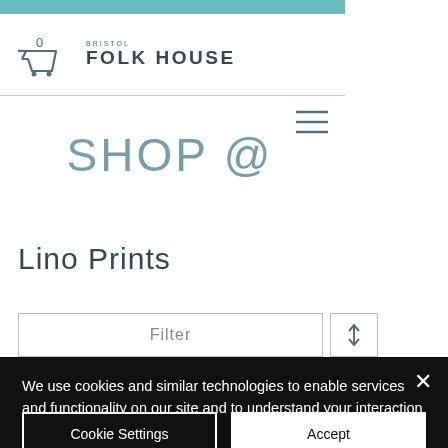BRISTOL FOLK HOUSE
SHOP @
Lino Prints
Filter
We use cookies and similar technologies to enable services and functionality on our site and to understand your interaction with our service. By clicking on accept, you agree to our use of such technologies for marketing and analytics. See Privacy Policy
Cookie Settings
Accept